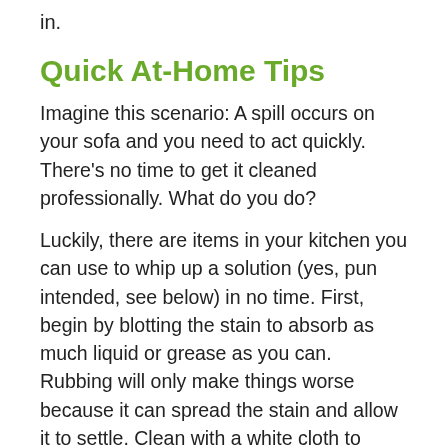in.
Quick At-Home Tips
Imagine this scenario: A spill occurs on your sofa and you need to act quickly. There's no time to get it cleaned professionally. What do you do?
Luckily, there are items in your kitchen you can use to whip up a solution (yes, pun intended, see below) in no time. First, begin by blotting the stain to absorb as much liquid or grease as you can. Rubbing will only make things worse because it can spread the stain and allow it to settle. Clean with a white cloth to prevent any dyes from transferring onto the upholstery.
For grease stains, generously sprinkle cornstarch (baby powder works too) and let it sit on the stain for a few hours. By the time you vacuum it, the stain should have disappeared.